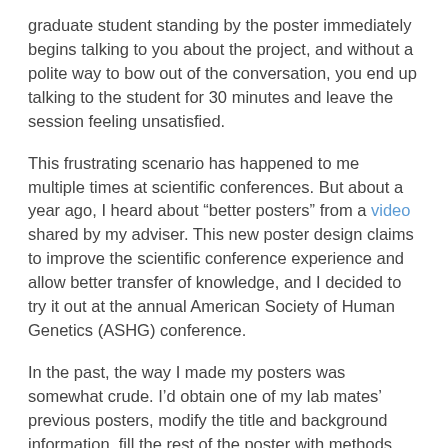graduate student standing by the poster immediately begins talking to you about the project, and without a polite way to bow out of the conversation, you end up talking to the student for 30 minutes and leave the session feeling unsatisfied.
This frustrating scenario has happened to me multiple times at scientific conferences. But about a year ago, I heard about “better posters” from a video shared by my adviser. This new poster design claims to improve the scientific conference experience and allow better transfer of knowledge, and I decided to try it out at the annual American Society of Human Genetics (ASHG) conference.
In the past, the way I made my posters was somewhat crude. I’d obtain one of my lab mates’ previous posters, modify the title and background information, fill the rest of the poster with methods, figures and discussion, then spend hours playing around with font sizes and wording to make sure everything fit nicely into the poster margins.
The creator of the new format, Mike Morrison, provides a handy template to use. I can confidently say that it took substantially